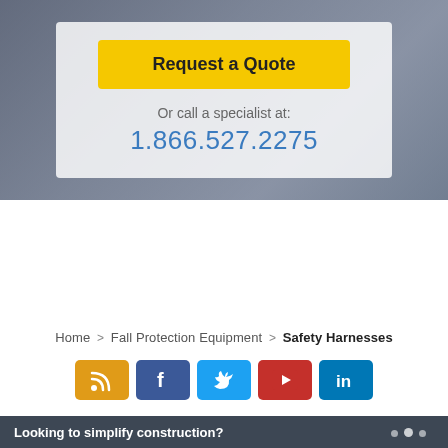[Figure (photo): Hero background image showing a person at a computer workstation, overlaid with a semi-transparent white card containing a Request a Quote button and phone number.]
Request a Quote
Or call a specialist at:
1.866.527.2275
Home > Fall Protection Equipment > Safety Harnesses
[Figure (other): Social media icon buttons: RSS (orange), Facebook (dark blue), Twitter (light blue), YouTube (red), LinkedIn (dark blue)]
Looking to simplify construction?